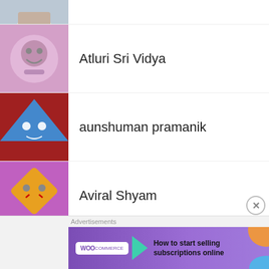(partial avatar, top crop)
Atluri Sri Vidya
aunshuman pramanik
Aviral Shyam
Ayush Bajpai
ayushbhati
ayusriv
bajajshrishti
[Figure (screenshot): WooCommerce advertisement banner: 'How to start selling subscriptions online']
Advertisements